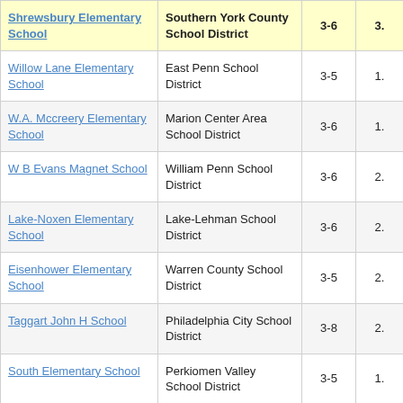| School | District | Grades | Value |
| --- | --- | --- | --- |
| Shrewsbury Elementary School | Southern York County School District | 3-6 | 3. |
| Willow Lane Elementary School | East Penn School District | 3-5 | 1. |
| W.A. Mccreery Elementary School | Marion Center Area School District | 3-6 | 1. |
| W B Evans Magnet School | William Penn School District | 3-6 | 2. |
| Lake-Noxen Elementary School | Lake-Lehman School District | 3-6 | 2. |
| Eisenhower Elementary School | Warren County School District | 3-5 | 2. |
| Taggart John H School | Philadelphia City School District | 3-8 | 2. |
| South Elementary School | Perkiomen Valley School District | 3-5 | 1. |